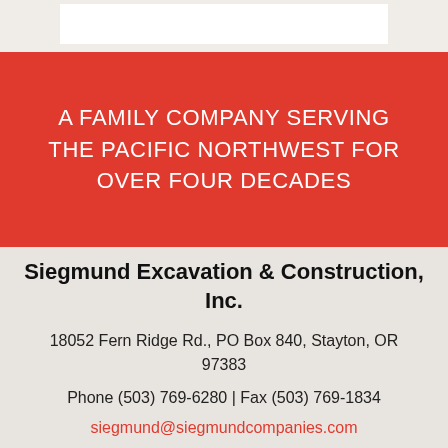A FAMILY COMPANY SERVING THE PACIFIC NORTHWEST FOR OVER FOUR DECADES
Siegmund Excavation & Construction, Inc.
18052 Fern Ridge Rd., PO Box 840, Stayton, OR 97383
Phone (503) 769-6280 | Fax (503) 769-1834
siegmund@siegmundcompanies.com